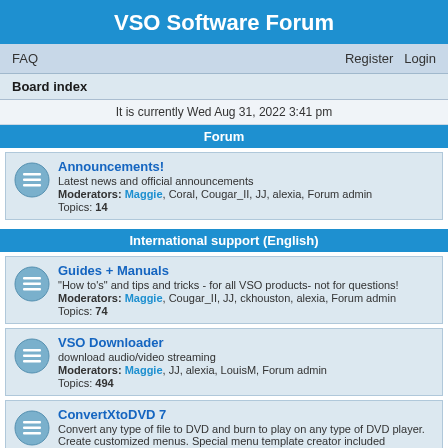VSO Software Forum
FAQ    Register    Login
Board index
It is currently Wed Aug 31, 2022 3:41 pm
Forum
Announcements!
Latest news and official announcements
Moderators: Maggie, Coral, Cougar_II, JJ, alexia, Forum admin
Topics: 14
International support (English)
Guides + Manuals
"How to's" and tips and tricks - for all VSO products- not for questions!
Moderators: Maggie, Cougar_II, JJ, ckhouston, alexia, Forum admin
Topics: 74
VSO Downloader
download audio/video streaming
Moderators: Maggie, JJ, alexia, LouisM, Forum admin
Topics: 494
ConvertXtoDVD 7
Convert any type of file to DVD and burn to play on any type of DVD player. Create customized menus. Special menu template creator included
Moderators: Maggie, JJ, ckhouston, Phil, alexia, Forum admin